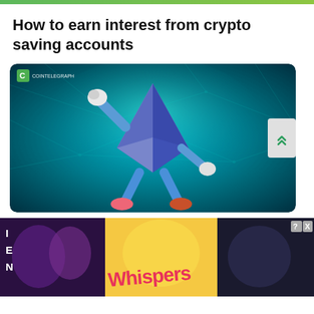[Figure (illustration): Top green gradient bar]
How to earn interest from crypto saving accounts
[Figure (illustration): Cointelegraph branded illustration: animated Ethereum diamond character with arms and legs posing victoriously against a teal blockchain network background]
[Figure (illustration): Advertisement banner for 'Whispers' app/game showing romantic couples, with close/help icons in top right corner]